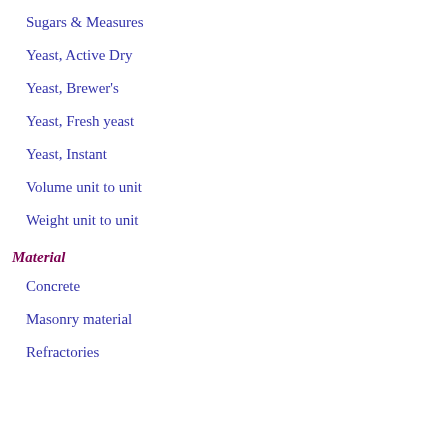Sugars & Measures
Yeast, Active Dry
Yeast, Brewer's
Yeast, Fresh yeast
Yeast, Instant
Volume unit to unit
Weight unit to unit
Material
Concrete
Masonry material
Refractories